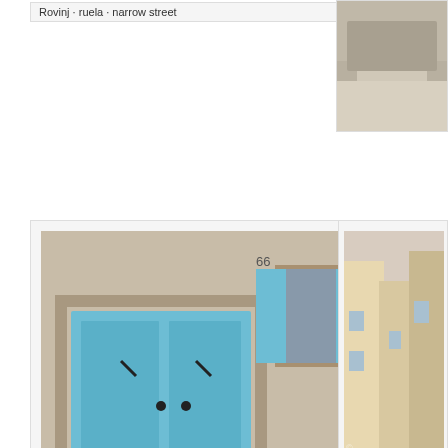Rovinj · ruela · narrow street
[Figure (photo): Partial photo on right side, building facade]
[Figure (photo): Rovinj house with blue door and shutters, number 66, stone wall facade, cobblestone street]
Rovinj · casa · house
[Figure (photo): Rovinj narrow street with people walking, colorful buildings]
Ro
[Figure (photo): Basilica of St. Euphemia bell tower and church facade in Rovinj]
A Basílica de Sam... a torre do sino se... construída no séc... guarda o sarcófac...